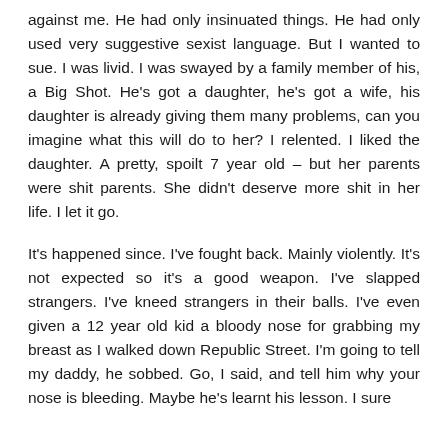against me. He had only insinuated things. He had only used very suggestive sexist language. But I wanted to sue. I was livid. I was swayed by a family member of his, a Big Shot. He's got a daughter, he's got a wife, his daughter is already giving them many problems, can you imagine what this will do to her? I relented. I liked the daughter. A pretty, spoilt 7 year old – but her parents were shit parents. She didn't deserve more shit in her life. I let it go.
It's happened since. I've fought back. Mainly violently. It's not expected so it's a good weapon. I've slapped strangers. I've kneed strangers in their balls. I've even given a 12 year old kid a bloody nose for grabbing my breast as I walked down Republic Street. I'm going to tell my daddy, he sobbed. Go, I said, and tell him why your nose is bleeding. Maybe he's learnt his lesson. I sure